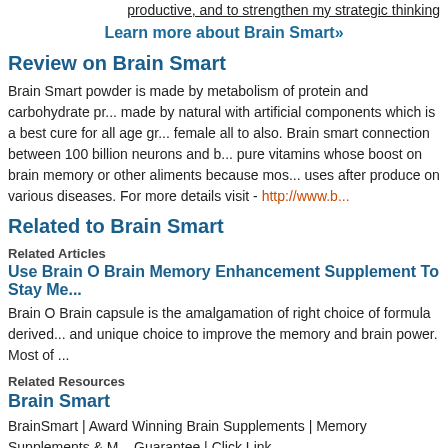productive, and to strengthen my strategic thinking
Learn more about Brain Smart»
Review on Brain Smart
Brain Smart powder is made by metabolism of protein and carbohydrate pr... made by natural with artificial components which is a best cure for all age gr... female all to also. Brain smart connection between 100 billion neurons and b... pure vitamins whose boost on brain memory or other aliments because mos... uses after produce on various diseases. For more details visit - http://www.b...
Related to Brain Smart
Related Articles
Use Brain O Brain Memory Enhancement Supplement To Stay Me...
Brain O Brain capsule is the amalgamation of right choice of formula derived... and unique choice to improve the memory and brain power. Most of ...
Related Resources
Brain Smart
BrainSmart | Award Winning Brain Supplements | Memory Supplements & M... Guarantee | Click Link.